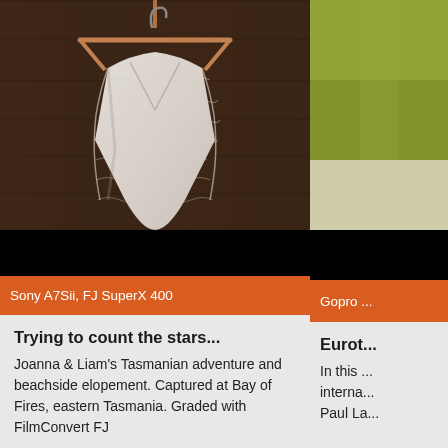[Figure (photo): A white lace wedding dress hanging on a wooden hanger against a dark wooden background]
Sony A7Sii, FJ SuperX 400
[Figure (photo): Partial view of a second photo with green background, cropped on right edge]
Gopro ...
Trying to count the stars...
Joanna & Liam's Tasmanian adventure and beachside elopement. Captured at Bay of Fires, eastern Tasmania. Graded with FilmConvert FJ
Eurot...
In this ... interna... Paul La...